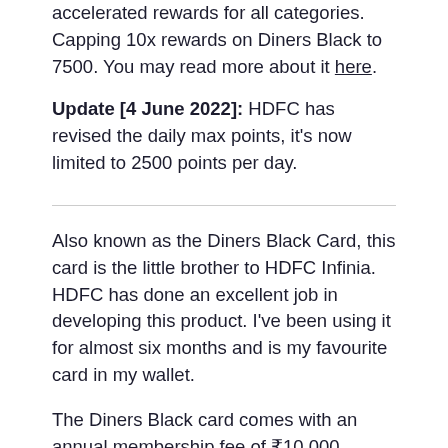accelerated rewards for all categories. Capping 10x rewards on Diners Black to 7500. You may read more about it here.
Update [4 June 2022]: HDFC has revised the daily max points, it's now limited to 2500 points per day.
Also known as the Diners Black Card, this card is the little brother to HDFC Infinia. HDFC has done an excellent job in developing this product. I've been using it for almost six months and is my favourite card in my wallet.
The Diners Black card comes with an annual membership fee of ₹10,000 (revised from 1st January 2020) plus taxes. However you get a